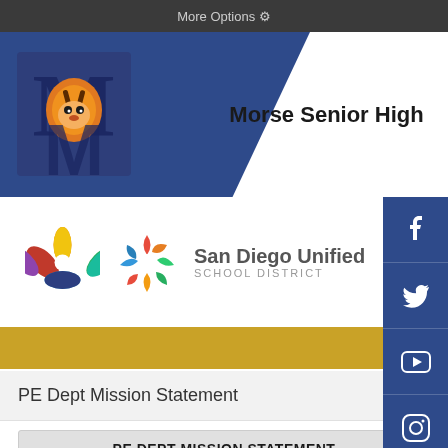More Options ⚙
Morse Senior High
[Figure (logo): Morse Senior High school logo — letter M with tiger mascot in navy blue and orange]
[Figure (logo): San Diego Unified School District logo — colorful pinwheel star with text San Diego Unified SCHOOL DISTRICT]
PE Dept Mission Statement
PE DEPT MISSION STATEMENT